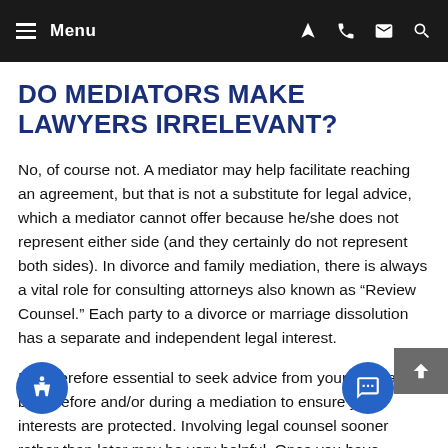Menu
DO MEDIATORS MAKE LAWYERS IRRELEVANT?
No, of course not. A mediator may help facilitate reaching an agreement, but that is not a substitute for legal advice, which a mediator cannot offer because he/she does not represent either side (and they certainly do not represent both sides). In divorce and family mediation, there is always a vital role for consulting attorneys also known as “Review Counsel.” Each party to a divorce or marriage dissolution has a separate and independent legal interest.
It is therefore essential to seek advice from your own lawyer both before and/or during a mediation to ensure your interests are protected. Involving legal counsel sooner rather than later may be very helpful. Once you have already